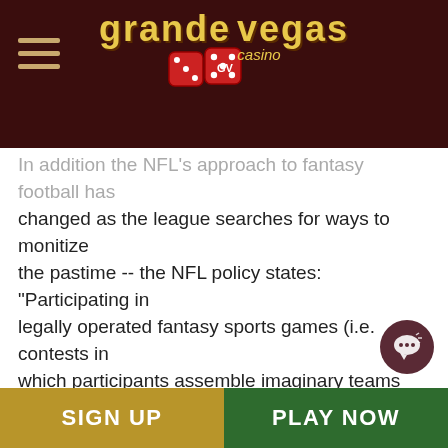Grande Vegas Casino
In addition the NFL's approach to fantasy football has changed as the league searches for ways to monitize the pastime -- the NFL policy states: "Participating in legally operated fantasy sports games (i.e. contests in which participants assemble imaginary teams comprised of real players from professional sports and compete based on the statistical performance of the real players) generally is not considered to be gambling or a gambling-related activity for purposes of this policy."
That means that fantasy sports companies like FanDuel
SIGN UP   PLAY NOW